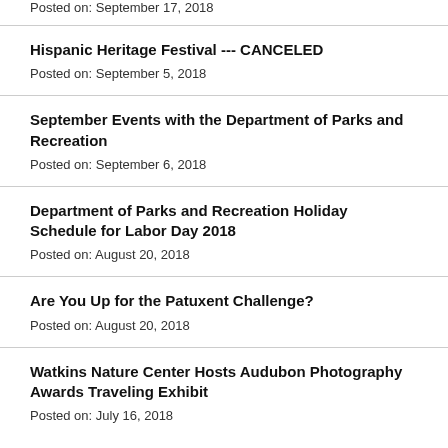Posted on: September 17, 2018
Hispanic Heritage Festival --- CANCELED
Posted on: September 5, 2018
September Events with the Department of Parks and Recreation
Posted on: September 6, 2018
Department of Parks and Recreation Holiday Schedule for Labor Day 2018
Posted on: August 20, 2018
Are You Up for the Patuxent Challenge?
Posted on: August 20, 2018
Watkins Nature Center Hosts Audubon Photography Awards Traveling Exhibit
Posted on: July 16, 2018
Airmail Centennial Takes off at the College Park Aviation